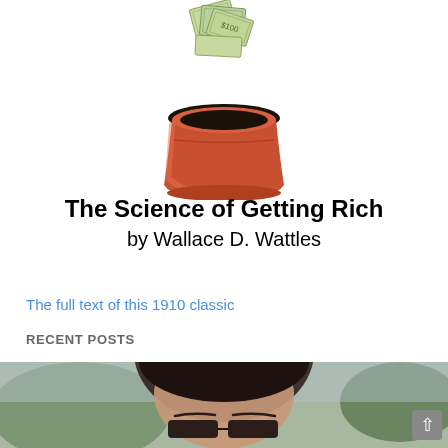[Figure (photo): A terracotta flower pot filled with dark soil, with rolled up US dollar bills planted in it like a plant, against a white background]
The Science of Getting Rich by Wallace D. Wattles
The full text of this 1910 classic
RECENT POSTS
[Figure (photo): Partial photo of a person with dark curly hair wearing glasses, with a blurred outdoor background]